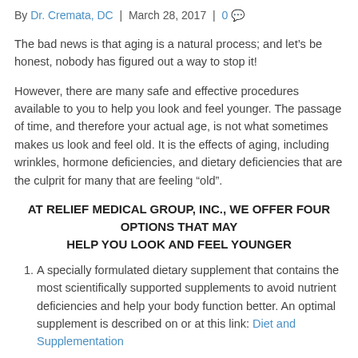By Dr. Cremata, DC | March 28, 2017 | 0
The bad news is that aging is a natural process; and let’s be honest, nobody has figured out a way to stop it!
However, there are many safe and effective procedures available to you to help you look and feel younger. The passage of time, and therefore your actual age, is not what sometimes makes us look and feel old. It is the effects of aging, including wrinkles, hormone deficiencies, and dietary deficiencies that are the culprit for many that are feeling “old”.
AT RELIEF MEDICAL GROUP, INC., WE OFFER FOUR OPTIONS THAT MAY HELP YOU LOOK AND FEEL YOUNGER
A specially formulated dietary supplement that contains the most scientifically supported supplements to avoid nutrient deficiencies and help your body function better. An optimal supplement is described on or at this link: Diet and Supplementation
This is a comprehensive supplement that contains not only vitamins and minerals, but also Coenzyme Q10, Omega3 in fish oil, probiotics, tea extracts, vegetable concentrates